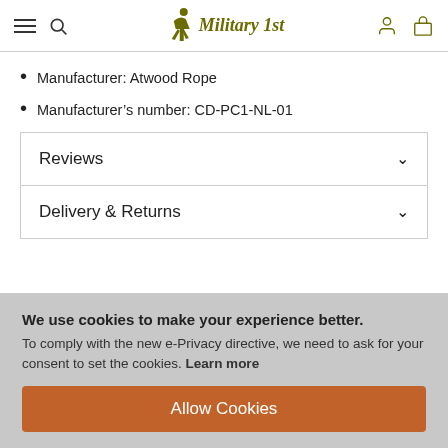Military 1st
Manufacturer: Atwood Rope
Manufacturer's number: CD-PC1-NL-01
Reviews
Delivery & Returns
We use cookies to make your experience better. To comply with the new e-Privacy directive, we need to ask for your consent to set the cookies. Learn more
Allow Cookies